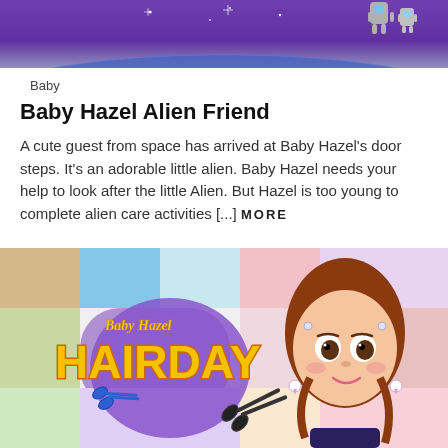[Figure (screenshot): Top banner image showing a purple space scene with a planet and stars]
Baby
Baby Hazel Alien Friend
A cute guest from space has arrived at Baby Hazel's door steps. It's an adorable little alien. Baby Hazel needs your help to look after the little Alien. But Hazel is too young to complete alien care activities [...] MORE
[Figure (screenshot): Baby Hazel Hairday game promotional image with cartoon girl and scissors]